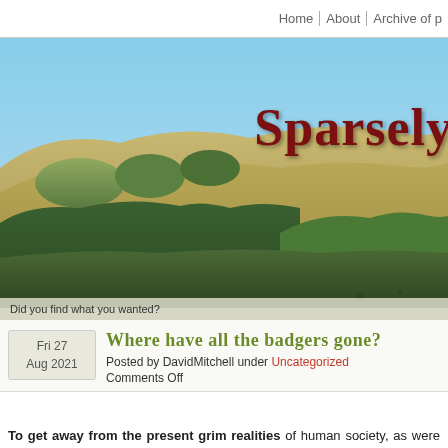| Home | About | Archive of p
[Figure (photo): Panoramic landscape photo showing rolling golden hills with patches of green trees under a blue sky. The blog title 'Sparsely' appears in large dark red serif font overlaid on the right side of the image.]
Did you find what you wanted?
Where have all the badgers gone?
Posted by DavidMitchell under Uncategorized
Comments Off
To get away from the present grim realities of human society, as were discussed last week, this week we'll take a few looks at the fascinating realities of the non-human world seen around Mitchell cabin.
[Figure (photo): Close-up photo of a bobcat or wild cat face peeking through green grass and brown leaf litter on the ground.]